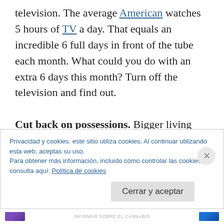television. The average American watches 5 hours of TV a day. That equals an incredible 6 full days in front of the tube each month. What could you do with an extra 6 days this month? Turn off the television and find out.

Cut back on possessions. Bigger living spaces and more stuff come with a double price: the cost to purchase them and the time to maintain them. A simpler lifestyle frees up time previously spent on vacuuming, fixing
Privacidad y cookies: este sitio utiliza cookies. Al continuar utilizando esta web, aceptas su uso.
Para obtener más información, incluido cómo controlar las cookies, consulta aquí: Política de cookies
Cerrar y aceptar